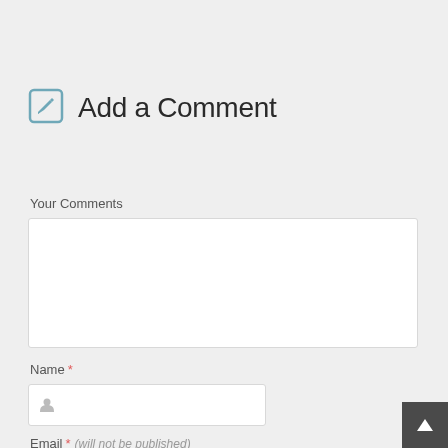Add a Comment
Your Comments
[Figure (other): Empty textarea input box for comments]
Name *
[Figure (other): Name text input field with person icon placeholder]
Email * (will not be published)